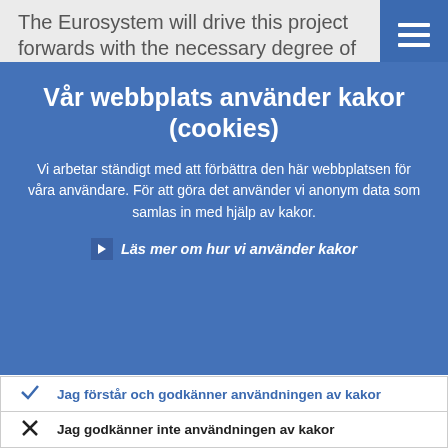The Eurosystem will drive this project forwards with the necessary degree of
Vår webbplats använder kakor (cookies)
Vi arbetar ständigt med att förbättra den här webbplatsen för våra användare. För att göra det använder vi anonym data som samlas in med hjälp av kakor.
Läs mer om hur vi använder kakor
Jag förstår och godkänner användningen av kakor
Jag godkänner inte användningen av kakor